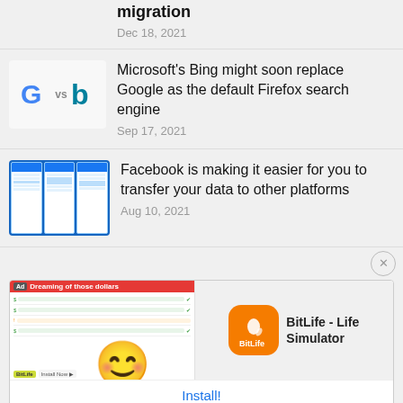migration
Dec 18, 2021
[Figure (illustration): Google G logo vs Bing b logo]
Microsoft's Bing might soon replace Google as the default Firefox search engine
Sep 17, 2021
[Figure (screenshot): Facebook app screenshots on mobile phones]
Facebook is making it easier for you to transfer your data to other platforms
Aug 10, 2021
[Figure (illustration): BitLife - Life Simulator ad banner with emoji and app icon]
Install!